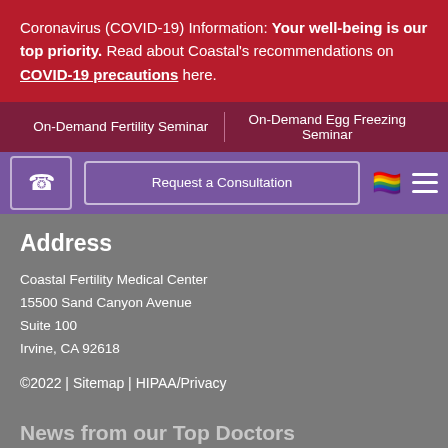Coronavirus (COVID-19) Information: Your well-being is our top priority. Read about Coastal's recommendations on COVID-19 precautions here.
On-Demand Fertility Seminar | On-Demand Egg Freezing Seminar
Request a Consultation
Address
Coastal Fertility Medical Center
15500 Sand Canyon Avenue
Suite 100
Irvine, CA 92618
©2022 | Sitemap | HIPAA/Privacy
News from our Top Doctors
How Research Has Shown the Future of Male Fe...
December 13, 2019